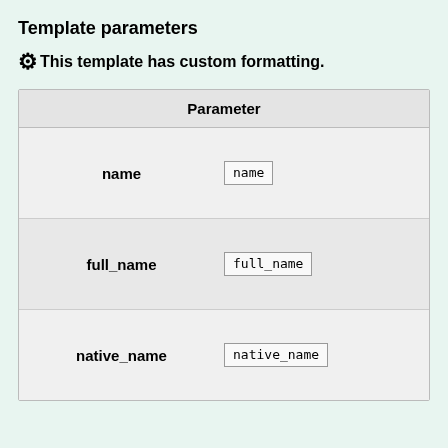Template parameters
⚙This template has custom formatting.
| Parameter |
| --- |
| name | name |
| full_name | full_name |
| native_name | native_name |